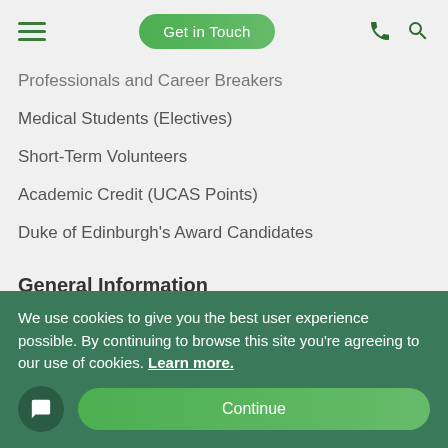Get in Touch
Professionals and Career Breakers
Medical Students (Electives)
Short-Term Volunteers
Academic Credit (UCAS Points)
Duke of Edinburgh's Award Candidates
General Information
Privacy Policy
Cookie Policy
Terms and Conditions
We use cookies to give you the best user experience possible. By continuing to browse this site you’re agreeing to our use of cookies. Learn more.